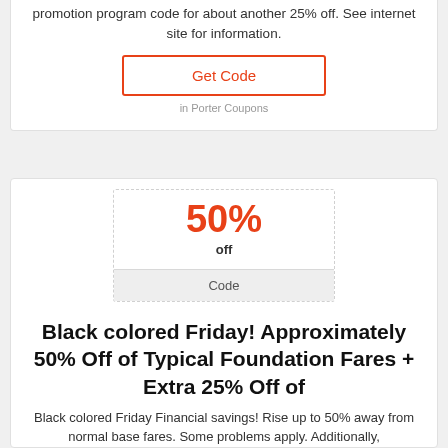promotion program code for about another 25% off. See internet site for information.
Get Code
in Porter Coupons
[Figure (infographic): Coupon box showing 50% off with a Code section below]
Black colored Friday! Approximately 50% Off of Typical Foundation Fares + Extra 25% Off of
Black colored Friday Financial savings! Rise up to 50% away from normal base fares. Some problems apply. Additionally,